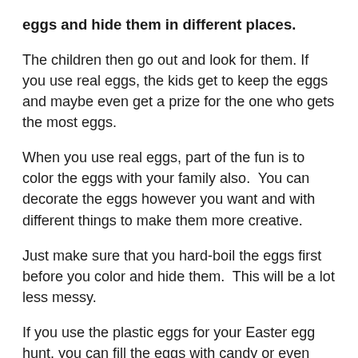eggs and hide them in different places.
The children then go out and look for them. If you use real eggs, the kids get to keep the eggs and maybe even get a prize for the one who gets the most eggs.
When you use real eggs, part of the fun is to color the eggs with your family also.  You can decorate the eggs however you want and with different things to make them more creative.
Just make sure that you hard-boil the eggs first before you color and hide them.  This will be a lot less messy.
If you use the plastic eggs for your Easter egg hunt, you can fill the eggs with candy or even money.